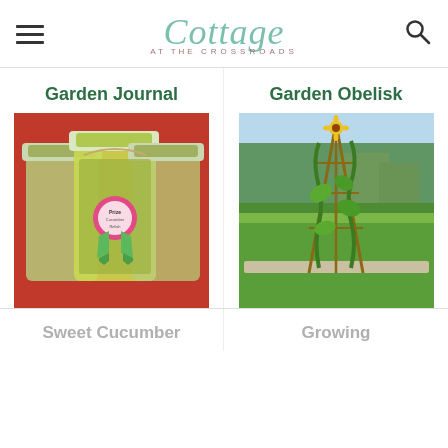Cottage at the Crossroads
Garden Journal
Garden Obelisk
[Figure (photo): Three mason jars filled with sweet cucumber relish on a red surface, decorated with a pink ribbon award tag]
[Figure (photo): Garden obelisk trellis with climbing vines in a raised garden bed, with green lawn and trees in background]
Sweet Cucumber
Growing